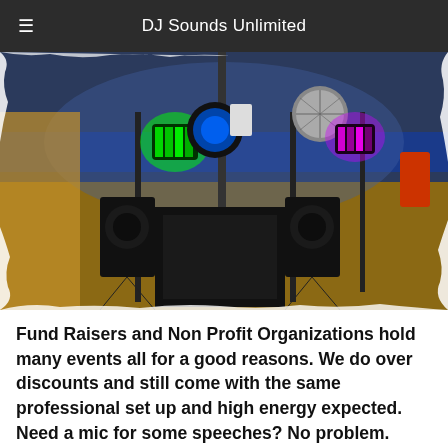DJ Sounds Unlimited
[Figure (photo): DJ equipment setup in a gymnasium or event hall: multiple speaker stands with lighting effects including green and purple/pink lights, a large subwoofer in the center, a disco mirror ball, and various speakers positioned on stands. The room has blue walls and a wooden floor.]
Fund Raisers and Non Profit Organizations hold many events all for a good reasons. We do over discounts and still come with the same professional set up and high energy expected. Need a mic for some speeches? No problem. Let's work as a team and raise money but keep your guests